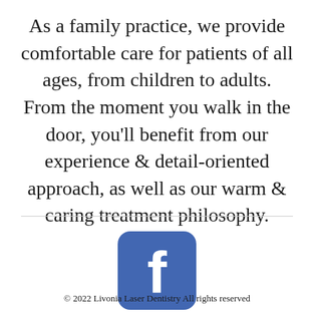As a family practice, we provide comfortable care for patients of all ages, from children to adults. From the moment you walk in the door, you'll benefit from our experience & detail-oriented approach, as well as our warm & caring treatment philosophy.
[Figure (logo): Facebook logo icon — rounded square with blue background and white 'f' letter]
© 2022 Livonia Laser Dentistry All rights reserved